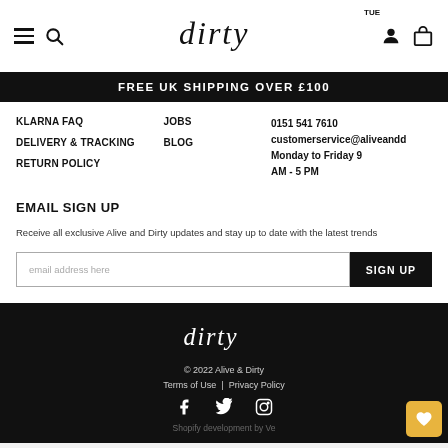dirty — site header with hamburger, search, logo, account, bag icons
FREE UK SHIPPING OVER £100
KLARNA FAQ
DELIVERY & TRACKING
RETURN POLICY
JOBS
BLOG
0151 541 7610
customerservice@aliveandd...
Monday to Friday 9 AM - 5 PM
EMAIL SIGN UP
Receive all exclusive Alive and Dirty updates and stay up to date with the latest trends
email address here   SIGN UP
© 2022 Alive & Dirty
Terms of Use | Privacy Policy
Shopify development by Ve...